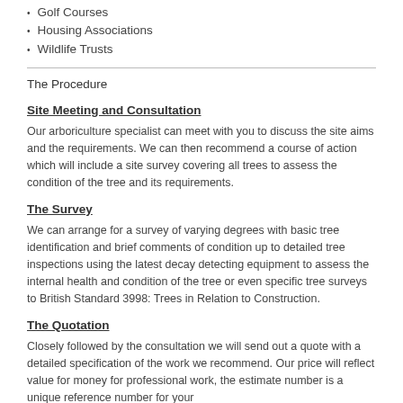Golf Courses
Housing Associations
Wildlife Trusts
The Procedure
Site Meeting and Consultation
Our arboriculture specialist can meet with you to discuss the site aims and the requirements. We can then recommend a course of action which will include a site survey covering all trees to assess the condition of the tree and its requirements.
The Survey
We can arrange for a survey of varying degrees with basic tree identification and brief comments of condition up to detailed tree inspections using the latest decay detecting equipment to assess the internal health and condition of the tree or even specific tree surveys to British Standard 3998: Trees in Relation to Construction.
The Quotation
Closely followed by the consultation we will send out a quote with a detailed specification of the work we recommend. Our price will reflect value for money for professional work, the estimate number is a unique reference number for your